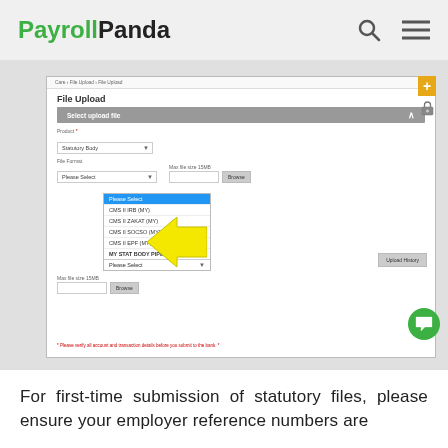PayrollPanda
[Figure (screenshot): Screenshot of PayrollPanda File Upload page showing a dropdown menu for File Format with options: Please Select (highlighted in blue), CMS II IRB (MY), CMS II ZAKAT (MY), CMS II SOCSO (MY), CMS II EPF (MY), MY STAT BODY PIPE, and a yellow arrow pointing to MY STAT BODY PIPE option. The page title is 'File Upload' and there is a 'Select upload file' section header. A yellow + button appears top right and an Upload History button appears on the right side.]
For first-time submission of statutory files, please ensure your employer reference numbers are